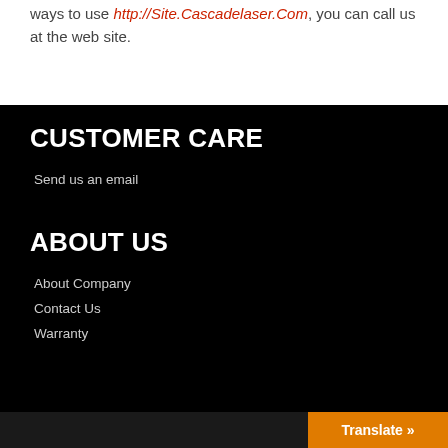ways to use http://Site.Cascadelaser.Com, you can call us at the web site.
CUSTOMER CARE
Send us an email
ABOUT US
About Company
Contact Us
Warranty
Translate »